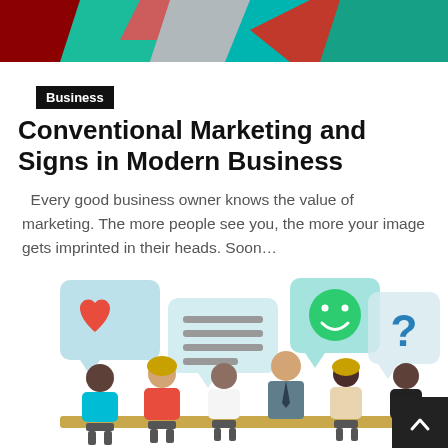[Figure (illustration): Abstract geometric shapes with red, teal, and grey arrows/boxes at the top of the page (cropped header image)]
Business
Conventional Marketing and Signs in Modern Business
Every good business owner knows the value of marketing. The more people see you, the more your image gets imprinted in their heads. Soon…
[Figure (illustration): Flat design illustration of people seated at a conference table with speech bubbles showing a heart, text lines, a smiley face, and a question mark above them.]